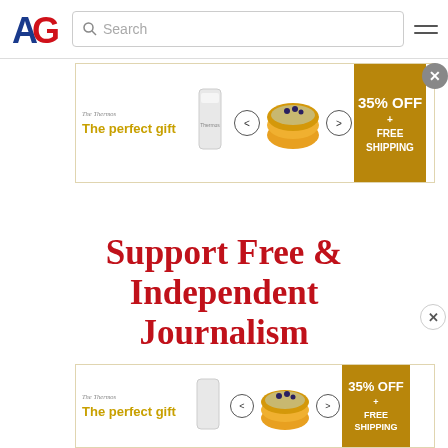[Figure (screenshot): Navigation bar with AG logo, search bar, and hamburger menu icon]
[Figure (screenshot): Advertisement banner: The Thermos brand - The perfect gift, 35% OFF + FREE SHIPPING, with food bowl image and navigation arrows]
Support Free & Independent Journalism
[Figure (screenshot): Second advertisement banner at bottom: The Thermos brand - The perfect gift, 35% OFF + FREE SHIPPING]